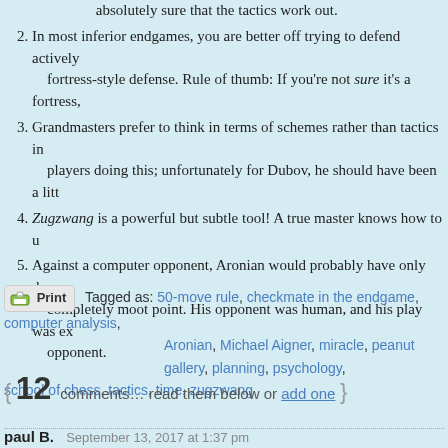absolutely sure that the tactics work out.
In most inferior endgames, you are better off trying to defend actively than a fortress-style defense. Rule of thumb: If you're not sure it's a fortress,
Grandmasters prefer to think in terms of schemes rather than tactics in players doing this; unfortunately for Dubov, he should have been a litt
Zugzwang is a powerful but subtle tool! A true master knows how to u
Against a computer opponent, Aronian would probably have only draw completely moot point. His opponent was human, and his play was ex opponent.
Tagged as: 50-move rule, checkmate in the endgame, computer analysis, Aronian, Michael Aigner, miracle, peanut gallery, planning, psychology, school of chess, tactics, time, zugzwang
{ 12 comments… read them below or add one }
paul B. September 13, 2017 at 1:37 pm